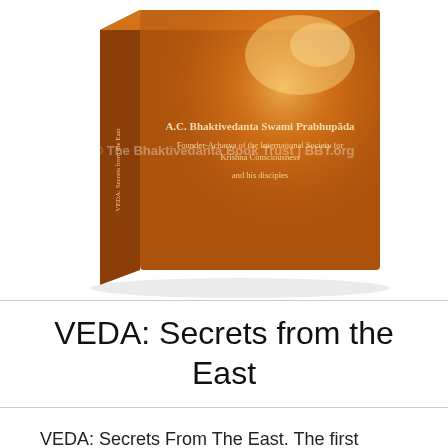[Figure (photo): A hardcover book with a warm orange and brown cover showing the title 'VEDA: Secrets from the East' and text 'A.C. Bhaktivedanta Swami Prabhupada, Founder-Acharya of the International Society for Krishna Consciousness and his disciples'. A watermark reads '© The Bhaktivedanta Book Trust | BBT.org'.]
VEDA: Secrets from the East
VEDA: Secrets From The East. The first introductory book to Krishna consciousness for some time, it features a compilation of writings by ISKCON Founder Srila Prabhupada and his disciples on the most crucial questions of our existence. What lies beyond death, and what would you do if you